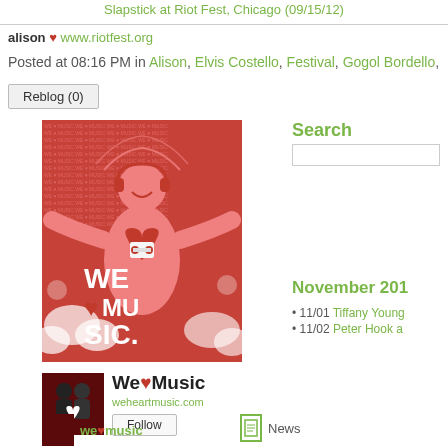Slapstick at Riot Fest, Chicago (09/15/12)
alison ♥ www.riotfest.org
Posted at 08:16 PM in Alison, Elvis Costello, Festival, Gogol Bordello,
Reblog (0)
[Figure (illustration): We Heart Music poster illustration: a pink figure wearing headphones with arms spread wide, a heart containing a cassette tape on chest, surrounded by decorative clouds and the text 'WE ♥ MUSIC' in large letters, against a red background with repeating text pattern.]
We♥Music
weheartmusic.com
Follow
Search
November 201
11/01 Tiffany Young
11/02 Peter Hook a
we♥music
News